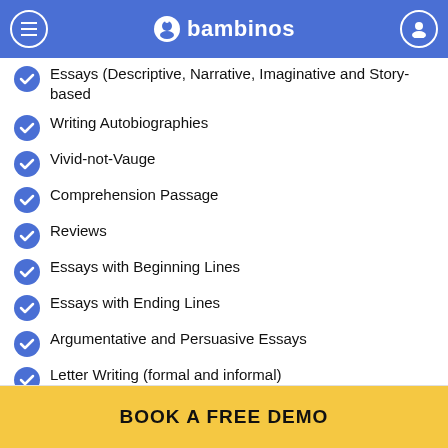bambinos
Essays (Descriptive, Narrative, Imaginative and Story-based
Writing Autobiographies
Vivid-not-Vauge
Comprehension Passage
Reviews
Essays with Beginning Lines
Essays with Ending Lines
Argumentative and Persuasive Essays
Letter Writing (formal and informal)
BOOK A FREE DEMO